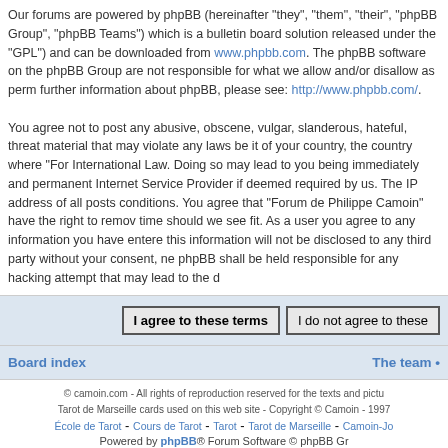Our forums are powered by phpBB (hereinafter "they", "them", "their", "phpBB Group", "phpBB Teams") which is a bulletin board solution released under the "GPL") and can be downloaded from www.phpbb.com. The phpBB software on the phpBB Group are not responsible for what we allow and/or disallow as perm further information about phpBB, please see: http://www.phpbb.com/.
You agree not to post any abusive, obscene, vulgar, slanderous, hateful, threat material that may violate any laws be it of your country, the country where "For International Law. Doing so may lead to you being immediately and permanent Internet Service Provider if deemed required by us. The IP address of all posts conditions. You agree that “Forum de Philippe Camoin” have the right to remov time should we see fit. As a user you agree to any information you have entere this information will not be disclosed to any third party without your consent, ne phpBB shall be held responsible for any hacking attempt that may lead to the d
I agree to these terms | I do not agree to these
Board index | The team •
© camoin.com - All rights of reproduction reserved for the texts and pictu Tarot de Marseille cards used on this web site - Copyright © Camoin - 1997 École de Tarot - Cours de Tarot - Tarot - Tarot de Marseille - Camoin-Jo Powered by phpBB® Forum Software © phpBB Gr Time : 0.076s | 15 Queries | GZIP : On